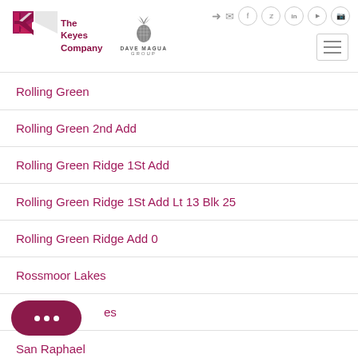[Figure (logo): The Keyes Company logo with red K diamond shape and text, alongside Dave Magua Group pineapple logo]
Rolling Green
Rolling Green 2nd Add
Rolling Green Ridge 1St Add
Rolling Green Ridge 1St Add Lt 13 Blk 25
Rolling Green Ridge Add 0
Rossmoor Lakes
San Acres
San Raphael